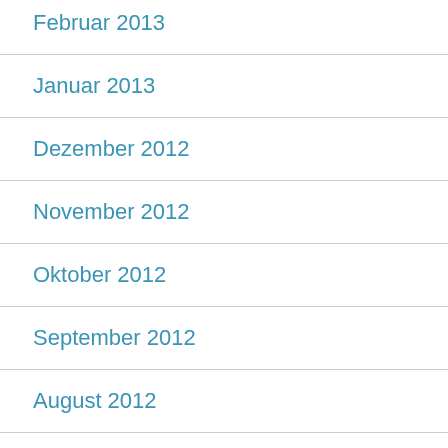Februar 2013
Januar 2013
Dezember 2012
November 2012
Oktober 2012
September 2012
August 2012
Juli 2012
Juni 2012